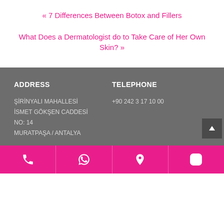« 7 Differences Between Botox and Fillers
What Does a Dermatologist do to Take Care of Her Own Skin? »
ADDRESS
ŞİRİNYALI MAHALLESİ
İSMET GÖKŞEN CADDESİ
NO: 14
MURATPAŞA / ANTALYA
TELEPHONE
+90 242 3 17 10 00
Phone | WhatsApp | Location | Instagram